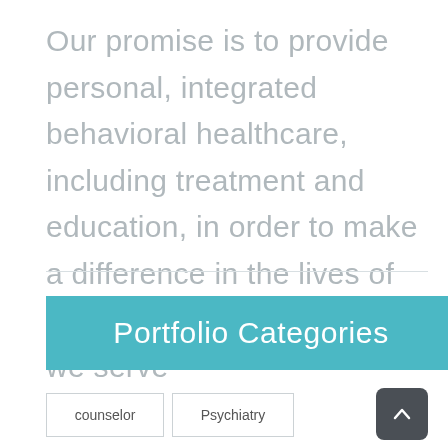Our promise is to provide personal, integrated behavioral healthcare, including treatment and education, in order to make a difference in the lives of the people and community we serve
Portfolio Categories
counselor
Psychiatry